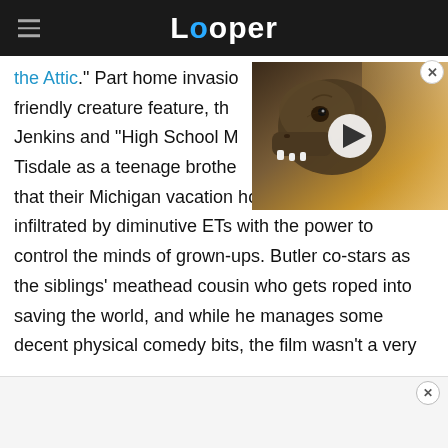Looper
the Attic." Part home invasion, family-friendly creature feature, th... Jenkins and "High School M... Tisdale as a teenage brothe... that their Michigan vacation home has been infiltrated by diminutive ETs with the power to control the minds of grown-ups. Butler co-stars as the siblings' meathead cousin who gets roped into saving the world, and while he manages some decent physical comedy bits, the film wasn't a very
[Figure (screenshot): Video thumbnail showing a dinosaur (T-Rex) with a play button overlay]